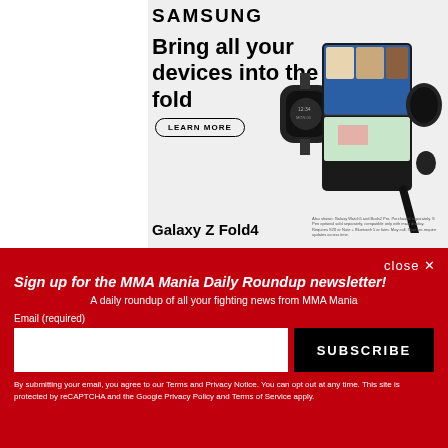[Figure (illustration): Samsung advertisement showing Galaxy Z Fold4 with Galaxy Watch5 and Buds2 Pro. Headline reads 'Bring all your devices into the fold' with a LEARN MORE button. Shows a foldable phone with video call, smartwatch, earbuds, and S Pen.]
Galaxy Z Fold4
Also shown: Galaxy Watch5 and Buds2 Pro. Purchased separately. S Pen optional sold separately, compatible only with main display. Requires S20 or Note + Bluetooth 5 or later. May call. Courses require updates across time.
close ✕
Sign up for the MMA Mania Daily Roundup newsletter!
A daily roundup of all your fighting news from MMA Mania
Email (required)
SUBSCRIBE
By submitting your email, you agree to our Terms and Privacy Notice. You can opt out at any time. This site is protected by reCAPTCHA and the Google Privacy Policy and Terms of Service apply.